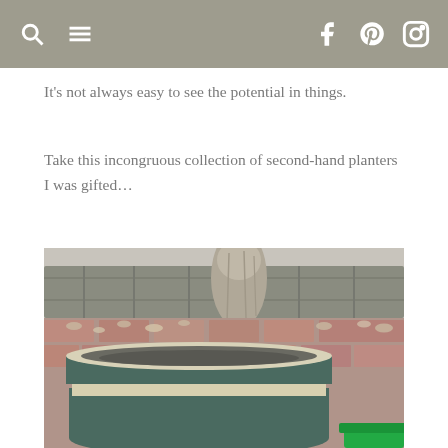navigation bar with search, menu, facebook, pinterest, instagram icons
It’s not always easy to see the potential in things.
Take this incongruous collection of second-hand planters I was gifted…
[Figure (photo): A round ceramic planter with cream and dark teal/grey banded stripes, sitting on a red brick patio. A tree trunk and wooden fence are visible in the blurred background. A green bucket/pot rim is visible at the bottom right.]